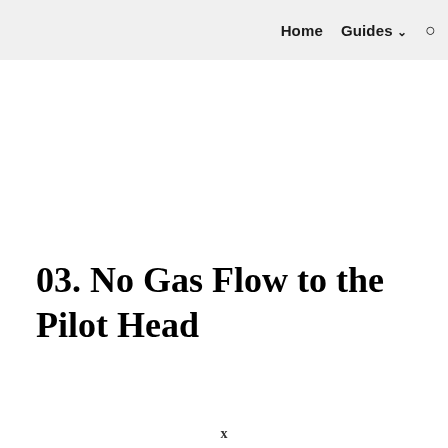Home  Guides  🔍
03. No Gas Flow to the Pilot Head